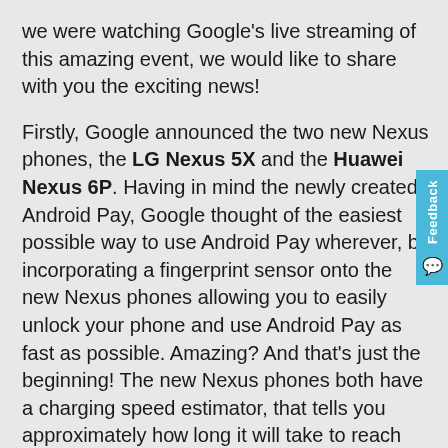we were watching Google's live streaming of this amazing event, we would like to share with you the exciting news!
Firstly, Google announced the two new Nexus phones, the LG Nexus 5X and the Huawei Nexus 6P. Having in mind the newly created Android Pay, Google thought of the easiest possible way to use Android Pay wherever, by incorporating a fingerprint sensor onto the new Nexus phones allowing you to easily unlock your phone and use Android Pay as fast as possible. Amazing? And that's just the beginning! The new Nexus phones both have a charging speed estimator, that tells you approximately how long it will take to reach 100% of charged battery. And are you worried that you are using your phone a lot and you always run out of battery? You no longer have to worry because now, device unattendance makes your phone go to deep sleep mode saving your battery!
An interesting fact is that both Nexus phones will have Google's newest Android version 6.0 Marshmallow installed. The Marshmallow Android version allows users